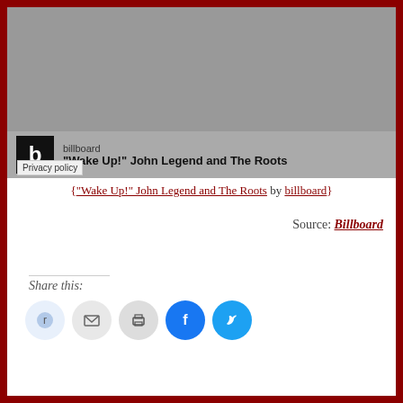[Figure (screenshot): Embedded Spotify/music player widget with Billboard logo and track 'Wake Up!' John Legend and The Roots. Gray background with Privacy policy label.]
{"Wake Up!" John Legend and The Roots by billboard}
Source: Billboard
Share this:
[Figure (other): Row of social share icon buttons: Reddit, Email, Print, Facebook, Twitter]